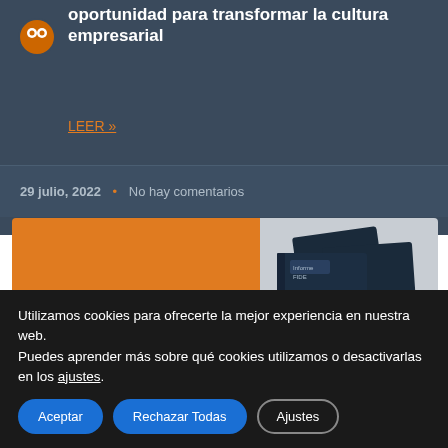oportunidad para transformar la cultura empresarial
LEER »
29 julio, 2022  •  No hay comentarios
[Figure (illustration): Informe FIDE 2021-2022 promotional image with orange background on the left showing white bold text 'INFORME FIDE 2021-2022' and subtitle 'INFORME DE REFERENCIA EN EL ÁMBITO JURÍDICO-ECONÓMICO', and book covers on the right side with navy blue and orange design showing '21 22'.]
Utilizamos cookies para ofrecerte la mejor experiencia en nuestra web.
Puedes aprender más sobre qué cookies utilizamos o desactivarlas en los ajustes.
Aceptar
Rechazar Todas
Ajustes